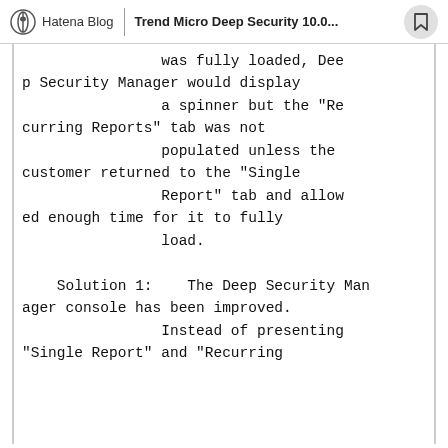Hatena Blog | Trend Micro Deep Security 10.0...
was fully loaded, Deep Security Manager would display a spinner but the "Recurring Reports" tab was not populated unless the customer returned to the "Single Report" tab and allowed enough time for it to fully load.

    Solution 1:    The Deep Security Manager console has been improved.
                    Instead of presenting "Single Report" and "Recurring